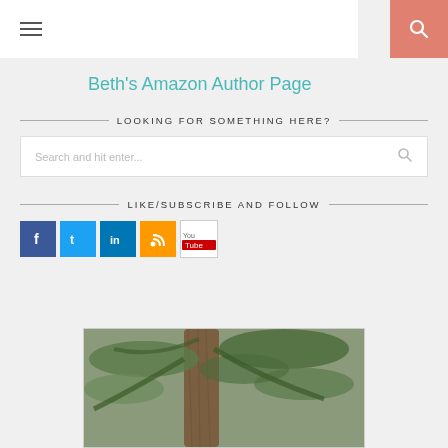≡ (hamburger menu) | 🔍 (search icon)
Beth's Amazon Author Page
LOOKING FOR SOMETHING HERE?
Search and hit enter...
LIKE/SUBSCRIBE AND FOLLOW
[Figure (other): Social media icons: Facebook, Twitter, LinkedIn, RSS, YouTube]
[Figure (photo): Photograph of palm tree trunk and green foliage/trees in background]